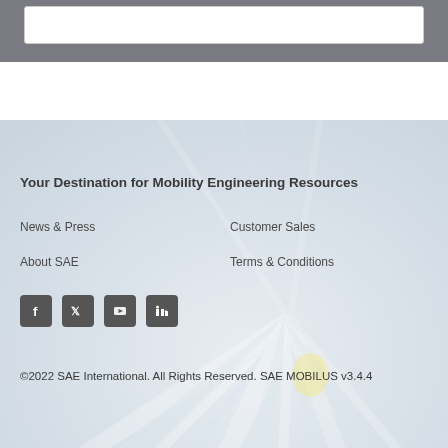[Figure (screenshot): Top grey navigation bar with white search/input box inside]
[Figure (illustration): Background light beam rays emanating from center, light grey and white tones]
Your Destination for Mobility Engineering Resources
News & Press
Customer Sales
About SAE
Terms & Conditions
[Figure (illustration): Four social media icons: Facebook, Twitter, YouTube, LinkedIn — dark grey rounded square icons]
©2022 SAE International. All Rights Reserved. SAE MOBILUS v3.4.4